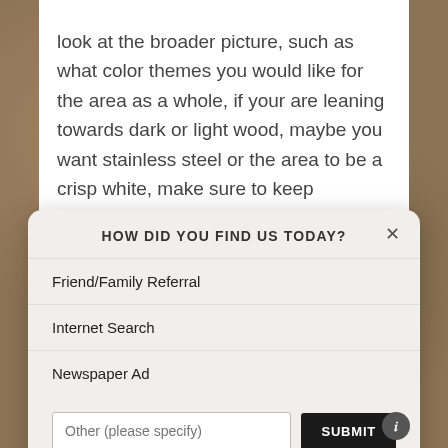look at the broader picture, such as what color themes you would like for the area as a whole, if your are leaning towards dark or light wood, maybe you want stainless steel or the area to be a crisp white, make sure to keep appliances in mind. Would you like the area to give off a modern, classic or cottage vibe? From there you
[Figure (screenshot): A modal dialog box with title 'HOW DID YOU FIND US TODAY?' containing options: Friend/Family Referral, Internet Search, Newspaper Ad, with a text input 'Other (please specify)' and a SUBMIT button. A close (X) button is in the top right of the modal.]